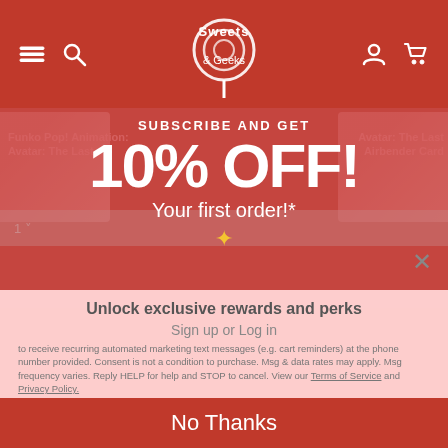Sweets & Geeks — website header with navigation icons and logo
[Figure (screenshot): Website header bar with hamburger menu, search icon, Sweets & Geeks logo, user icon, and cart icon on red background]
SUBSCRIBE AND GET
10% OFF!
Your first order!*
Unlock exclusive rewards and perks
Sign up or Log in
to receive recurring automated marketing text messages (e.g. cart reminders) at the phone number provided. Consent is not a condition to purchase. Msg & data rates may apply. Msg frequency varies. Reply HELP for help and STOP to cancel. View our Terms of Service and Privacy Policy.
Sign up
Sign Up
Already have an account? Sign in
No Thanks